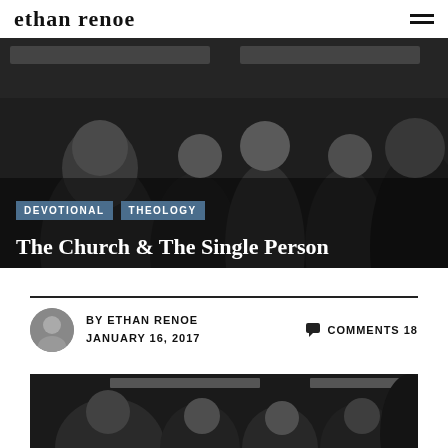ethan renoe
[Figure (photo): Black and white photograph of a group of young people crowded together, appearing to be on public transit or in a crowded space. Multiple faces visible, somber expressions.]
DEVOTIONAL   THEOLOGY
The Church & The Single Person
BY ETHAN RENOE  JANUARY 16, 2017
COMMENTS 18
[Figure (photo): Second black and white photograph showing the same or similar crowd scene, partially visible at the bottom of the page.]